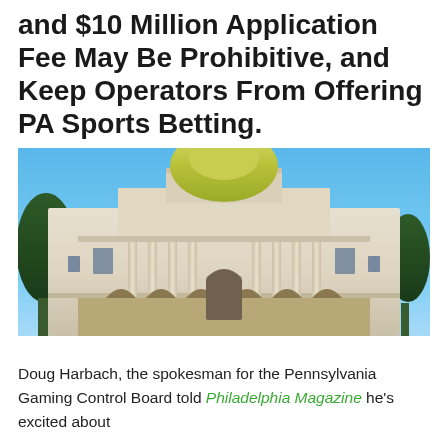and $10 Million Application Fee May Be Prohibitive, and Keep Operators From Offering PA Sports Betting.
[Figure (photo): Photograph of the Pennsylvania State Capitol building with its distinctive gold dome, white neoclassical facade with columns and arches, under a clear blue sky, with trees on either side.]
Doug Harbach, the spokesman for the Pennsylvania Gaming Control Board told Philadelphia Magazine he's excited about